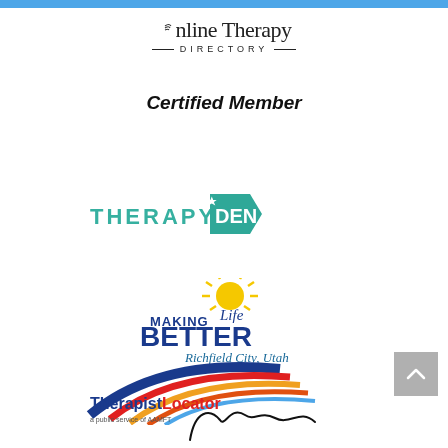[Figure (logo): Blue horizontal bar at the top of the page]
[Figure (logo): Online Therapy Directory logo with wifi arc over O, dashes flanking DIRECTORY text, and Certified Member text below in bold italic]
[Figure (logo): TherapyDen logo with teal house/tag shape containing DEN text and THERAPY in teal letters]
[Figure (logo): Making Life Better - Richfield City, Utah logo with yellow sunburst and blue/navy text]
[Figure (logo): TherapistLocator a public service of AAMFT logo with blue/red/yellow/orange arc stripes]
[Figure (logo): Partial cursive/script logo at bottom, only partially visible]
[Figure (other): Back to top button - gray square with upward chevron arrow]